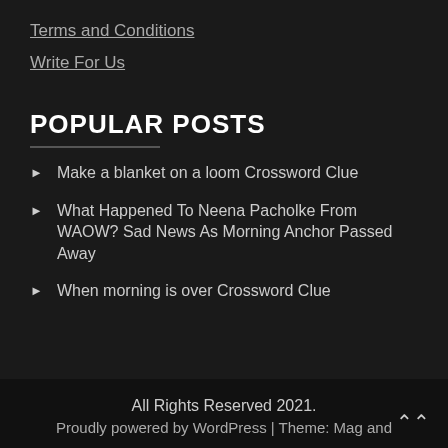Terms and Conditions
Write For Us
POPULAR POSTS
Make a blanket on a loom Crossword Clue
What Happened To Neena Pacholke From WAOW? Sad News As Morning Anchor Passed Away
When morning is over Crossword Clue
All Rights Reserved 2021.
Proudly powered by WordPress | Theme: Mag and